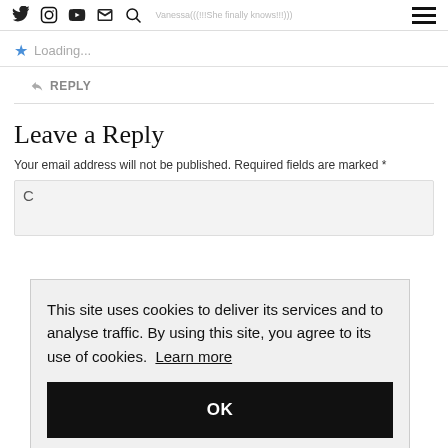Nav icons: Twitter, Instagram, YouTube, Email, Search | Menu
Loading...
REPLY
Leave a Reply
Your email address will not be published. Required fields are marked *
This site uses cookies to deliver its services and to analyse traffic. By using this site, you agree to its use of cookies. Learn more
OK